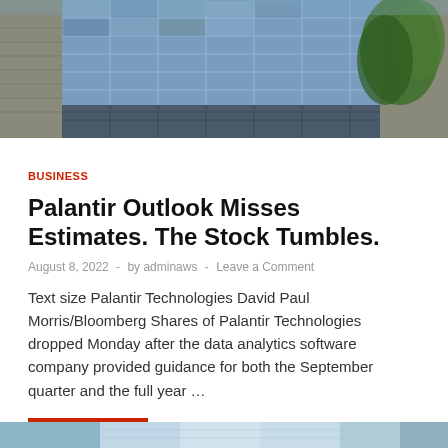[Figure (photo): Exterior photo of Palantir Technologies office building with glass facade and a tree visible in the upper right]
BUSINESS
Palantir Outlook Misses Estimates. The Stock Tumbles.
August 8, 2022  -  by adminaws  -  Leave a Comment
Text size Palantir Technologies David Paul Morris/Bloomberg Shares of Palantir Technologies dropped Monday after the data analytics software company provided guidance for both the September quarter and the full year …
[Figure (photo): Partial photo at bottom of page, light blue tones, appears to be another building or office exterior]